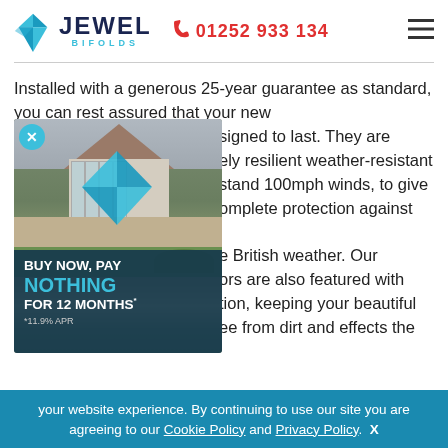Jewel Bifolds | 01252 933 134
Installed with a generous 25-year guarantee as standard, you can rest assured that your new folding doors are designed to last. They are extremely resilient weather-resistant and can withstand 100mph winds, to give you complete protection against the worse British weather. Our doors are also featured with protection, keeping your beautiful doors free from dirt and effects the
[Figure (photo): Promotional popup overlay showing a house with bifold doors and patio, with offer text 'BUY NOW, PAY NOTHING FOR 12 MONTHS' and '*11.9% APR']
your website experience. By continuing to use our site you are agreeing to our Cookie Policy and Privacy Policy.  X